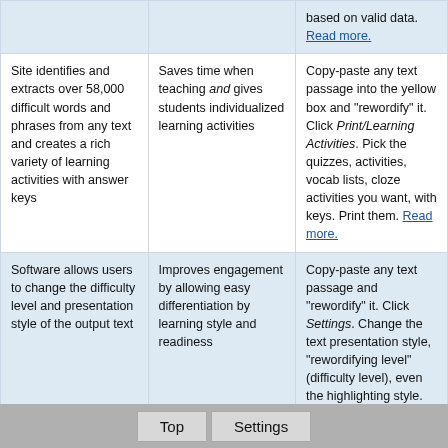| Feature | Benefit | How to use |
| --- | --- | --- |
| based on valid data. | Read more. |  |  |
| Site identifies and extracts over 58,000 difficult words and phrases from any text and creates a rich variety of learning activities with answer keys | Saves time when teaching and gives students individualized learning activities | Copy-paste any text passage into the yellow box and "rewordify" it. Click Print/Learning Activities. Pick the quizzes, activities, vocab lists, cloze activities you want, with keys. Print them. Read more. |
| Software allows users to change the difficulty level and presentation style of the output text | Improves engagement by allowing easy differentiation by learning style and readiness | Copy-paste any text passage and "rewordify" it. Click Settings. Change the text presentation style, "rewordifying level" (difficulty level), even the highlighting style. Read more. |
| Site works as an app on any device, using a minimum of data | Allows for easy district rollout on nearly any existing device while conserving Internet bandwith | Point any device's browser to Rewordify.com and it works like an app. Here's how to make an app icon on your home screen or desktop. |
| Site calculates accurate | Improves engagement | Rewordify any text |
Top   Settings